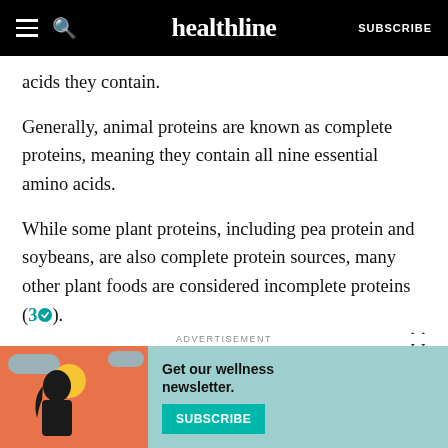healthline  SUBSCRIBE
acids they contain.
Generally, animal proteins are known as complete proteins, meaning they contain all nine essential amino acids.
While some plant proteins, including pea protein and soybeans, are also complete protein sources, many other plant foods are considered incomplete proteins (3).
This means plant foods such as beans, peanuts, and wheat are rich in total protein but lack one or more of the essential amino acids. Still, you can easily combin…
[Figure (infographic): Advertisement banner with illustration of a person and clouds on orange background, teal background with text 'Get our wellness newsletter.' and a SUBSCRIBE button]